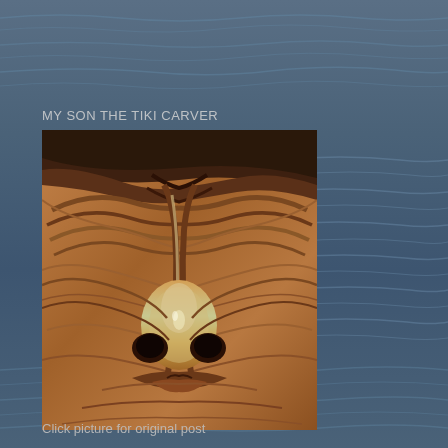[Figure (photo): Ocean/water background with rippling dark blue water surface filling the entire page]
MY SON THE TIKI CARVER
[Figure (photo): Close-up photograph of a carved wooden Tiki face sculpture showing detailed nose and brow area with swirling wood grain patterns in warm brown tones]
Click picture for original post